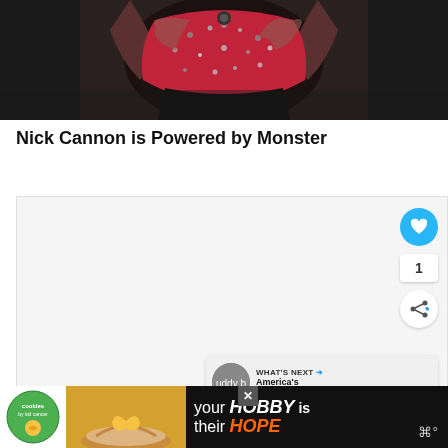[Figure (photo): Close-up photo of a performer wearing a red and silver sequined top/bustier against a dark background, arms raised]
Nick Cannon is Powered by Monster
[Figure (screenshot): Embedded video or content area, light gray background with social action buttons (heart/like, share count of 1, share icon) on the right, and a 'WHAT'S NEXT' card showing 'America's Next Top...' with a circular thumbnail]
[Figure (photo): Advertisement banner: cookies by kids cancer logo, hands holding a heart-shaped cookie, text 'your HOBBY is their HOPE']